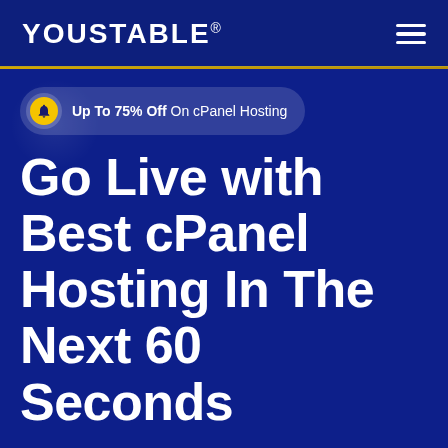YOUSTABLE®
Up To 75% Off On cPanel Hosting
Go Live with Best cPanel Hosting In The Next 60 Seconds
Every function at your fingertip with the best cPanel hosting. Get the most intuitive Control Panel th
Chat 1